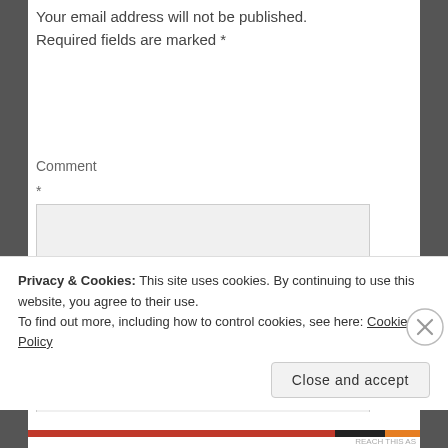Your email address will not be published. Required fields are marked *
Comment
*
[Figure (screenshot): Empty comment textarea input box with light gray background]
Privacy & Cookies: This site uses cookies. By continuing to use this website, you agree to their use.
To find out more, including how to control cookies, see here: Cookie Policy
Close and accept